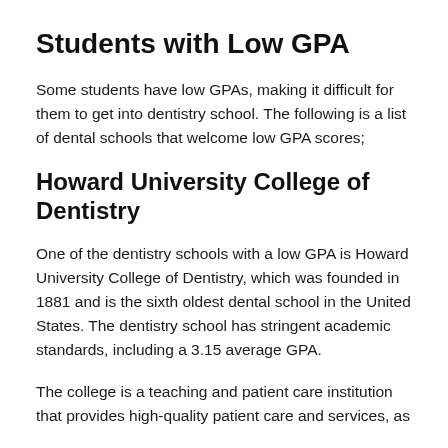Students with Low GPA
Some students have low GPAs, making it difficult for them to get into dentistry school. The following is a list of dental schools that welcome low GPA scores;
Howard University College of Dentistry
One of the dentistry schools with a low GPA is Howard University College of Dentistry, which was founded in 1881 and is the sixth oldest dental school in the United States. The dentistry school has stringent academic standards, including a 3.15 average GPA.
The college is a teaching and patient care institution that provides high-quality patient care and services, as